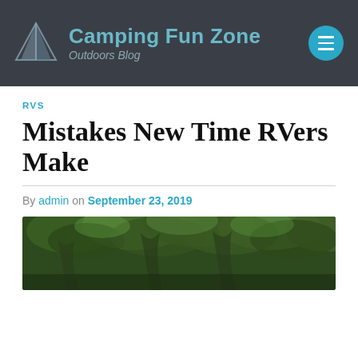Camping Fun Zone – Outdoors Blog
RVS
Mistakes New Time RVers Make
By admin on September 23, 2019
[Figure (photo): Outdoor photo showing large trees with dense green foliage canopy, natural forest setting]